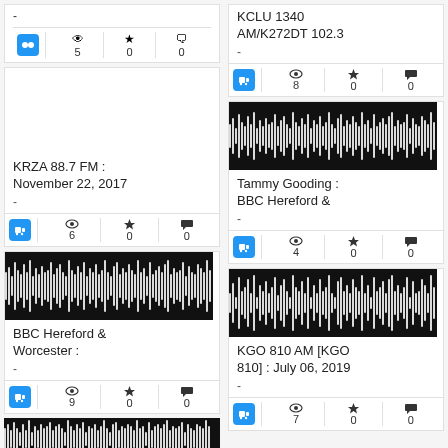[Figure (other): Radio broadcast card top - partial, cut off at top. Stats: 5 views, 0 stars, 0 comments]
KCLU 1340 AM/K272DT 102.3
-
8  0  0
KRZA 88.7 FM : November 22, 2017
-
6  0  0
Tammy Gooding : BBC Hereford &
-
4  0  0
[Figure (other): Audio waveform visualization for BBC Hereford & Worcester]
BBC Hereford & Worcester :
-
9  0  0
[Figure (other): Audio waveform visualization for KGO 810 AM]
KGO 810 AM [KGO 810] : July 06, 2019
-
7  0  0